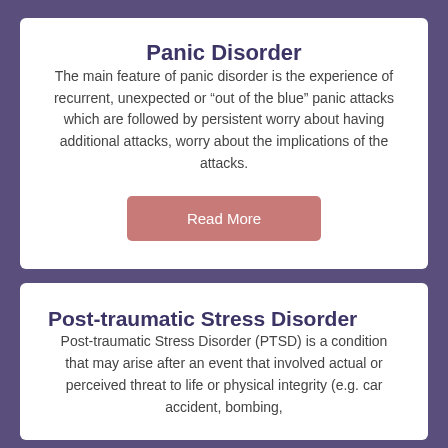Panic Disorder
The main feature of panic disorder is the experience of recurrent, unexpected or “out of the blue” panic attacks which are followed by persistent worry about having additional attacks, worry about the implications of the attacks.
Read More
Post-traumatic Stress Disorder
Post-traumatic Stress Disorder (PTSD) is a condition that may arise after an event that involved actual or perceived threat to life or physical integrity (e.g. car accident, bombing, assault), or experiencing a severe and…